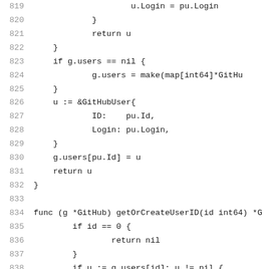Code listing lines 819-839 showing Go source code for GitHub user management functions getOrCreateUser and getOrCreateUserID